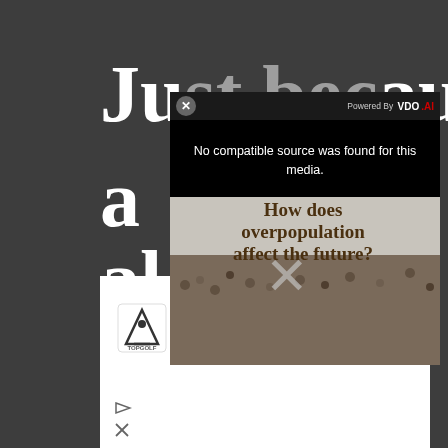[Figure (screenshot): Web page screenshot showing a partially visible article title beginning with 'Just because' in large white bold text on a dark background, overlaid by a video player modal with 'Powered By VDO.AI' branding, a close button (X), and a 'No compatible source was found for this media.' error message. Below the error is a thumbnail of a crowd image with 'How does overpopulation affect the future?' text. An advertisement at the bottom shows Topgolf branding: 'The Perfect Family Activity / Topgolf' with a logo and navigation arrow.]